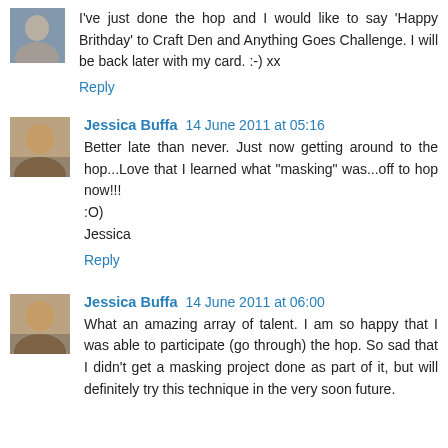I've just done the hop and I would like to say 'Happy Brithday' to Craft Den and Anything Goes Challenge. I will be back later with my card. :-) xx
Reply
Jessica Buffa 14 June 2011 at 05:16
Better late than never. Just now getting around to the hop...Love that I learned what "masking" was...off to hop now!!!
:O)
Jessica
Reply
Jessica Buffa 14 June 2011 at 06:00
What an amazing array of talent. I am so happy that I was able to participate (go through) the hop. So sad that I didn't get a masking project done as part of it, but will definitely try this technique in the very soon future.